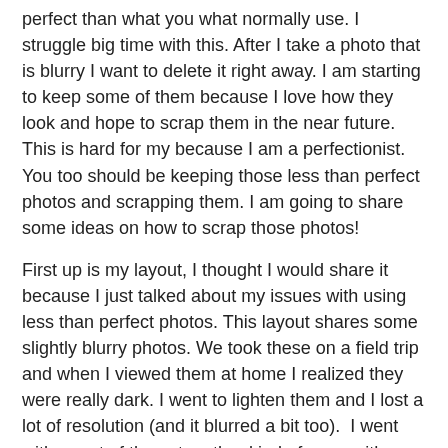perfect than what you what normally use. I struggle big time with this. After I take a photo that is blurry I want to delete it right away. I am starting to keep some of them because I love how they look and hope to scrap them in the near future. This is hard for my because I am a perfectionist. You too should be keeping those less than perfect photos and scrapping them. I am going to share some ideas on how to scrap those photos!
First up is my layout, I thought I would share it because I just talked about my issues with using less than perfect photos. This layout shares some slightly blurry photos. We took these on a field trip and when I viewed them at home I realized they were really dark. I went to lighten them and I lost a lot of resolution (and it blurred a bit too).  I went with a sort of throw together kind of page with random stuff put everywhere on page (whimsical look) that I didn't plan out to do with some blurry star paper on the top to match. I love how this turned out.
BRIGHT IDEA #1: If you have blurry overexposed photos go with a whimsical feel to your page and it will look like it fits right in!